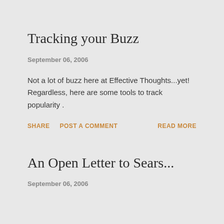Tracking your Buzz
September 06, 2006
Not a lot of buzz here at Effective Thoughts...yet! Regardless, here are some tools to track popularity .
SHARE   POST A COMMENT   READ MORE
An Open Letter to Sears...
September 06, 2006